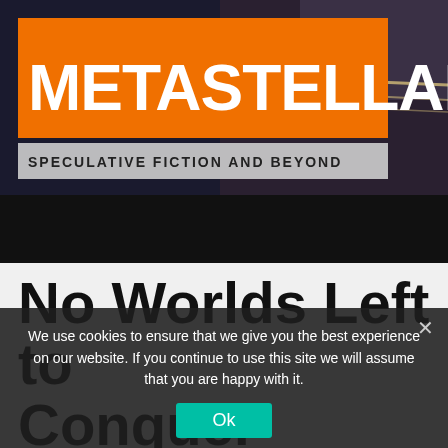[Figure (logo): MetaStellar website header banner with orange logo box on dark/stormy sky background. Large text METASTELLAR in white on orange. Below: subtitle bar reading SPECULATIVE FICTION AND BEYOND.]
No Worlds Left to Conquer
By Charles D. Choi
Some articles may include Amazon affiliate links. All proceeds
We use cookies to ensure that we give you the best experience on our website. If you continue to use this site we will assume that you are happy with it.